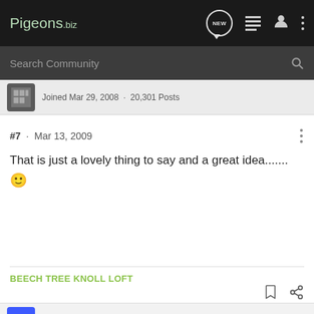Pigeons.biz
Search Community
Joined Mar 29, 2008 · 20,301 Posts
#7 · Mar 13, 2009
That is just a lovely thing to say and a great idea.......🙂
BEECH TREE KNOLL LOFT
sweedu · Registered